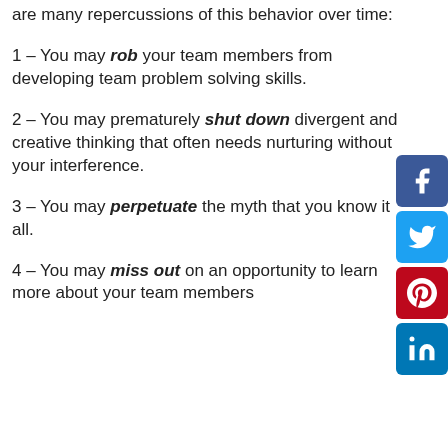As the CEO of a growing startup, there are many repercussions of this behavior over time:
1 – You may rob your team members from developing team problem solving skills.
2 – You may prematurely shut down divergent and creative thinking that often needs nurturing without your interference.
3 – You may perpetuate the myth that you know it all.
4 – You may miss out on an opportunity to learn more about your team members